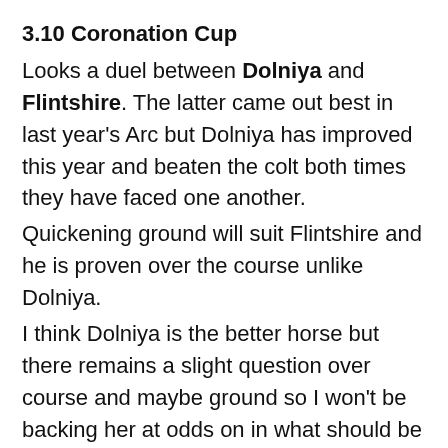3.10 Coronation Cup
Looks a duel between Dolniya and Flintshire. The latter came out best in last year's Arc but Dolniya has improved this year and beaten the colt both times they have faced one another.
Quickening ground will suit Flintshire and he is proven over the course unlike Dolniya.
I think Dolniya is the better horse but there remains a slight question over course and maybe ground so I won't be backing her at odds on in what should be a tactically run affair with only 6 runners (expect Romsdal to make the pace a sensible one)
3.45 Epsom Dash
5 furlong handicap over the quickest sprint track in the world.
Many runners have previous form in this. Caspian Prince